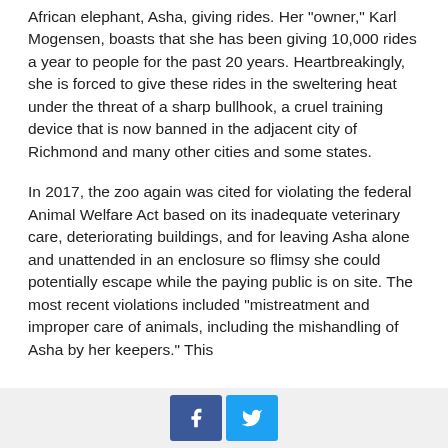African elephant, Asha, giving rides. Her "owner," Karl Mogensen, boasts that she has been giving 10,000 rides a year to people for the past 20 years. Heartbreakingly, she is forced to give these rides in the sweltering heat under the threat of a sharp bullhook, a cruel training device that is now banned in the adjacent city of Richmond and many other cities and some states.
In 2017, the zoo again was cited for violating the federal Animal Welfare Act based on its inadequate veterinary care, deteriorating buildings, and for leaving Asha alone and unattended in an enclosure so flimsy she could potentially escape while the paying public is on site. The most recent violations included "mistreatment and improper care of animals, including the mishandling of Asha by her keepers." This
Facebook | Twitter social share buttons